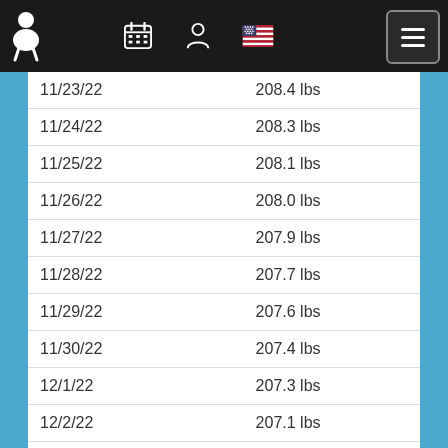Navigation header with icons
| Date | Weight |
| --- | --- |
| 11/23/22 | 208.4 lbs |
| 11/24/22 | 208.3 lbs |
| 11/25/22 | 208.1 lbs |
| 11/26/22 | 208.0 lbs |
| 11/27/22 | 207.9 lbs |
| 11/28/22 | 207.7 lbs |
| 11/29/22 | 207.6 lbs |
| 11/30/22 | 207.4 lbs |
| 12/1/22 | 207.3 lbs |
| 12/2/22 | 207.1 lbs |
| 12/3/22 | 207.0 lbs |
| 12/4/22 | 206.9 lbs |